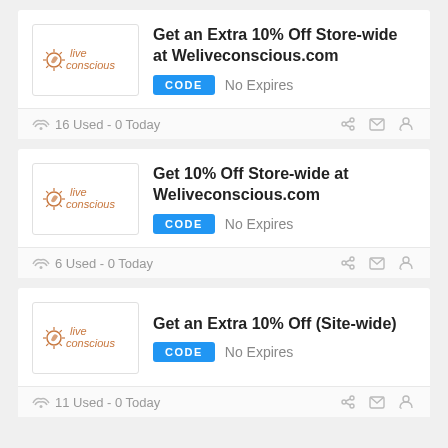[Figure (logo): Live Conscious brand logo with sun/leaf icon]
Get an Extra 10% Off Store-wide at Weliveconscious.com
CODE  No Expires
16 Used - 0 Today
[Figure (logo): Live Conscious brand logo with sun/leaf icon]
Get 10% Off Store-wide at Weliveconscious.com
CODE  No Expires
6 Used - 0 Today
[Figure (logo): Live Conscious brand logo with sun/leaf icon]
Get an Extra 10% Off (Site-wide)
CODE  No Expires
11 Used - 0 Today